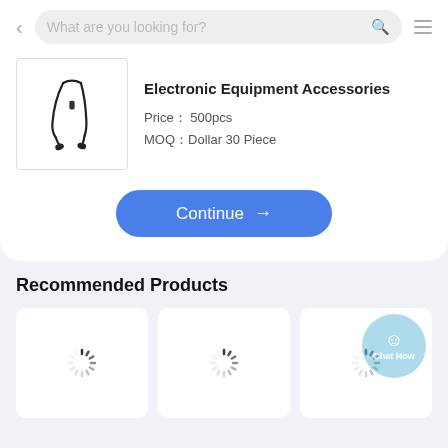[Figure (screenshot): Mobile app search bar with back arrow, search input placeholder 'What are you looking for?', search icon, and hamburger menu icon]
[Figure (photo): Product image of earphones/earbuds on white background]
Electronic Equipment Accessories
Price： 500pcs
MOQ：Dollar 30 Piece
[Figure (other): Blue rounded Continue button with right arrow]
Recommended Products
[Figure (other): Loading spinner card 1]
[Figure (other): Loading spinner card 2]
[Figure (other): Loading spinner card 3 with Chat Now overlay bubble]